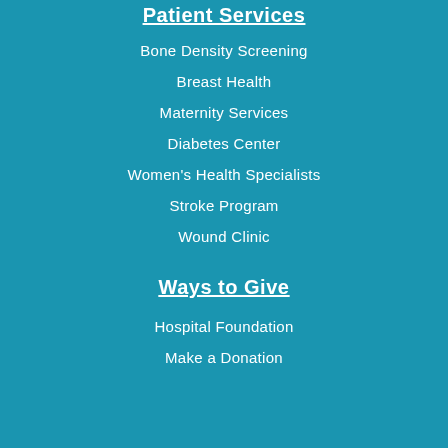Patient Services
Bone Density Screening
Breast Health
Maternity Services
Diabetes Center
Women's Health Specialists
Stroke Program
Wound Clinic
Ways to Give
Hospital Foundation
Make a Donation